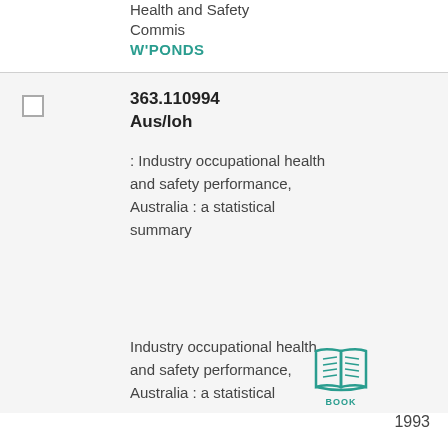Health and Safety Commis
W'PONDS
363.110994
Aus/loh
: Industry occupational health and safety performance, Australia : a statistical summary
Industry occupational health and safety performance, Australia : a statistical
[Figure (illustration): Book icon in teal color with label BOOK below]
1993